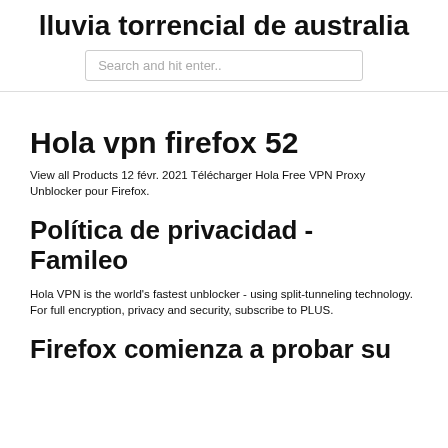lluvia torrencial de australia
Search and hit enter..
Hola vpn firefox 52
View all Products 12 févr. 2021 Télécharger Hola Free VPN Proxy Unblocker pour Firefox.
Política de privacidad - Famileo
Hola VPN is the world's fastest unblocker - using split-tunneling technology. For full encryption, privacy and security, subscribe to PLUS.
Firefox comienza a probar su